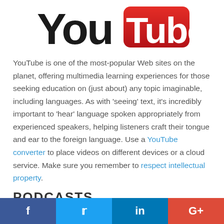[Figure (logo): YouTube logo: 'You' in bold black text followed by 'Tube' in white bold text on a red rounded rectangle background]
YouTube is one of the most-popular Web sites on the planet, offering multimedia learning experiences for those seeking education on (just about) any topic imaginable, including languages. As with ‘seeing’ text, it’s incredibly important to ‘hear’ language spoken appropriately from experienced speakers, helping listeners craft their tongue and ear to the foreign language. Use a YouTube converter to place videos on different devices or a cloud service. Make sure you remember to respect intellectual property.
PODCASTS
[Figure (infographic): Social sharing bar with four buttons: Facebook (blue), Twitter (light blue), LinkedIn (dark blue), Google+ (red)]